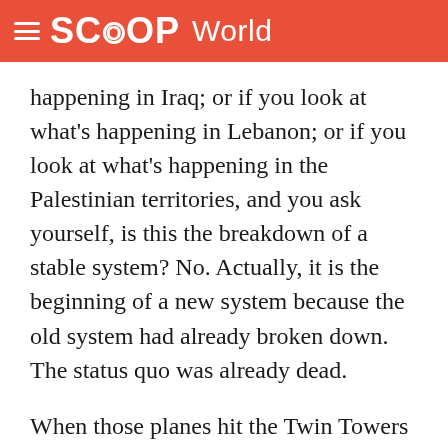SCOOP World
happening in Iraq; or if you look at what's happening in Lebanon; or if you look at what's happening in the Palestinian territories, and you ask yourself, is this the breakdown of a stable system? No. Actually, it is the beginning of a new system because the old system had already broken down. The status quo was already dead.
When those planes hit the Twin Towers on September 11th, what we had to face up to, and what the rest of the region had face up to, was that there was clearly a deep malignancy in the Middle East that had not been addressed and it had produced a situation in which the only space was for ideologies of hatred so virulent